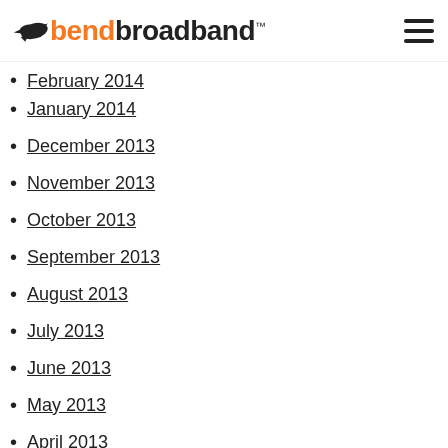bendbroadband
February 2014 (partial, cut off)
January 2014
December 2013
November 2013
October 2013
September 2013
August 2013
July 2013
June 2013
May 2013
April 2013
March 2013
February 2013
January 2013
December 2012
November 2012
October 2012
September 2012
August 2012
March 2012